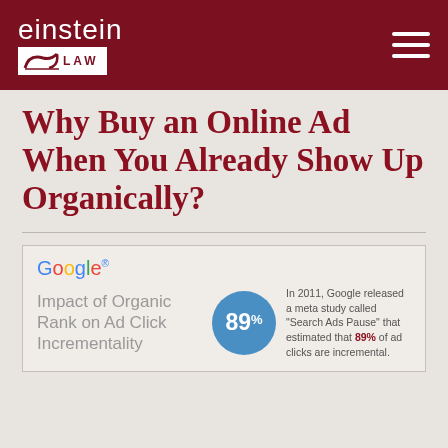einstein LAW
Why Buy an Online Ad When You Already Show Up Organically?
[Figure (infographic): Google infographic card showing 'Impact of Organic Rank on Ad Click Incrementality' with a blue circle badge showing 89% and text: 'In 2011, Google released a meta study called Search Ads Pause that estimated that 89% of ad clicks are incremental.']